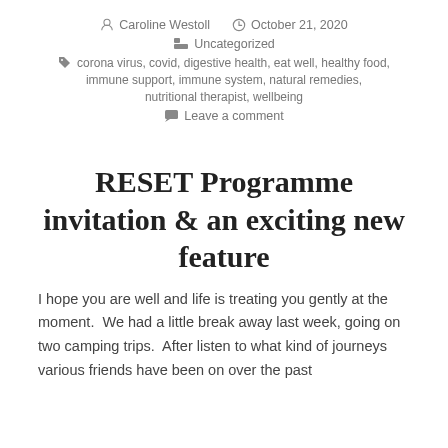Caroline Westoll   October 21, 2020   Uncategorized
corona virus, covid, digestive health, eat well, healthy food, immune support, immune system, natural remedies, nutritional therapist, wellbeing
Leave a comment
RESET Programme invitation & an exciting new feature
I hope you are well and life is treating you gently at the moment.  We had a little break away last week, going on two camping trips.  After listen to what kind of journeys various friends have been on over the past